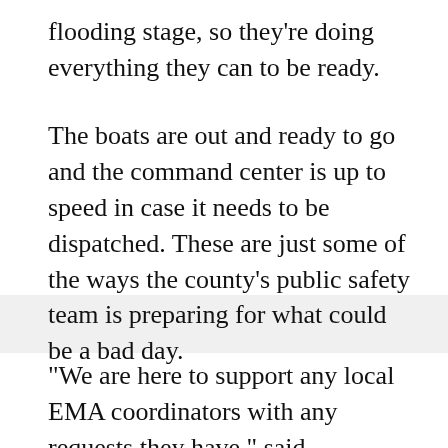flooding stage, so they're doing everything they can to be ready.
The boats are out and ready to go and the command center is up to speed in case it needs to be dispatched. These are just some of the ways the county's public safety team is preparing for what could be a bad day.
"We are here to support any local EMA coordinators with any requests they have," said Washington County Interim Public Safety Director Ryan Frazee.
Support like extra boats, equipment, you name it. While local agencies look to the county for help if